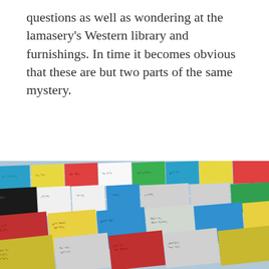questions as well as wondering at the lamasery's Western library and furnishings. In time it becomes obvious that these are but two parts of the same mystery.
[Figure (photo): Colorful Tibetan Buddhist prayer flags with script/mantras printed on them in blue, red, yellow, green, and white, strung diagonally across the frame in multiple overlapping rows.]